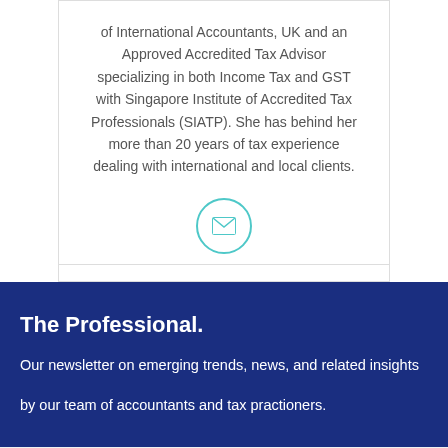of International Accountants, UK and an Approved Accredited Tax Advisor specializing in both Income Tax and GST with Singapore Institute of Accredited Tax Professionals (SIATP). She has behind her more than 20 years of tax experience dealing with international and local clients.
[Figure (other): Email envelope icon inside a teal/cyan circle]
The Professional.
Our newsletter on emerging trends, news, and related insights
by our team of accountants and tax practioners.
Email address